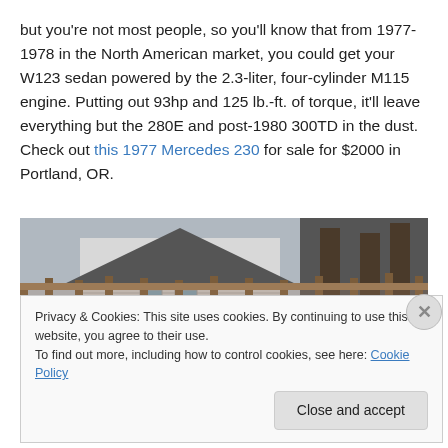but you're not most people, so you'll know that from 1977-1978 in the North American market, you could get your W123 sedan powered by the 2.3-liter, four-cylinder M115 engine. Putting out 93hp and 125 lb.-ft. of torque, it'll leave everything but the 280E and post-1980 300TD in the dust. Check out this 1977 Mercedes 230 for sale for $2000 in Portland, OR.
[Figure (photo): Outdoor photo showing a white car roof in the foreground with a wooden fence and a house with white siding in the background, taken in a residential setting.]
Privacy & Cookies: This site uses cookies. By continuing to use this website, you agree to their use.
To find out more, including how to control cookies, see here: Cookie Policy